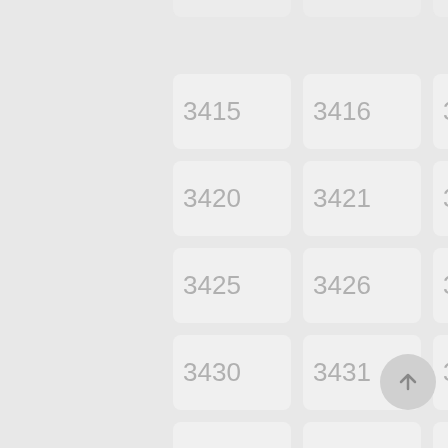[Figure (screenshot): Grid of numbered cells from 3415 to 3469, displayed in a 5-column layout with light gray rounded rectangle cards on a gray background. Numbers are shown in light gray large font. A floating action button with an upward arrow is visible at bottom right.]